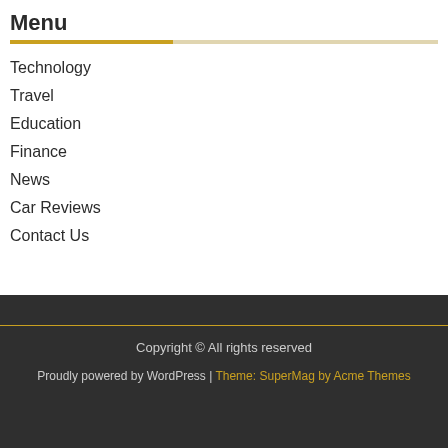Menu
Technology
Travel
Education
Finance
News
Car Reviews
Contact Us
Copyright © All rights reserved
Proudly powered by WordPress | Theme: SuperMag by Acme Themes